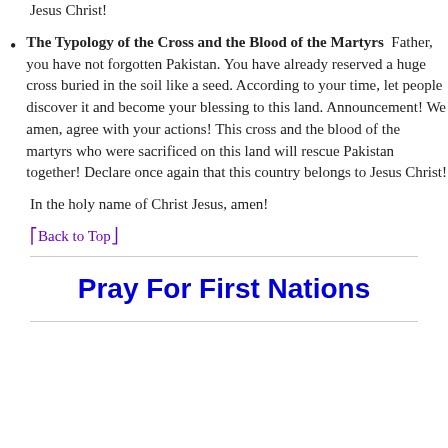Jesus Christ!
The Typology of the Cross and the Blood of the Martyrs  Father, you have not forgotten Pakistan. You have already reserved a huge cross buried in the soil like a seed. According to your time, let people discover it and become your blessing to this land. Announcement! We amen, agree with your actions! This cross and the blood of the martyrs who were sacrificed on this land will rescue Pakistan together! Declare once again that this country belongs to Jesus Christ!
In the holy name of Christ Jesus, amen!
⎡Back to Top⎦
Pray For First Nations